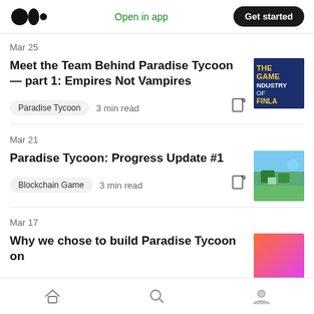Open in app  Get started
Mar 25
Meet the Team Behind Paradise Tycoon — part 1: Empires Not Vampires
Paradise Tycoon  3 min read
[Figure (photo): Thumbnail image: The Game Industry of Finland book cover]
Mar 21
Paradise Tycoon: Progress Update #1
Blockchain Game  3 min read
[Figure (photo): Thumbnail image: aerial/isometric view of a colorful island game scene]
Mar 17
Why we chose to build Paradise Tycoon on
[Figure (photo): Thumbnail image: orange-pink gradient background]